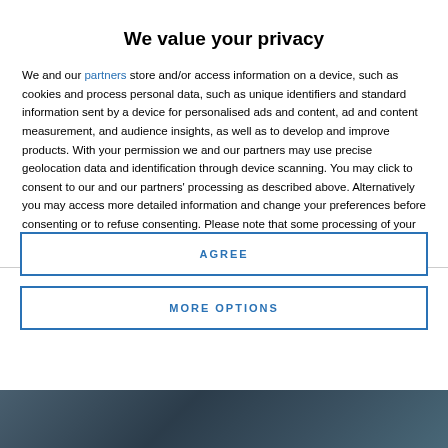We value your privacy
We and our partners store and/or access information on a device, such as cookies and process personal data, such as unique identifiers and standard information sent by a device for personalised ads and content, ad and content measurement, and audience insights, as well as to develop and improve products. With your permission we and our partners may use precise geolocation data and identification through device scanning. You may click to consent to our and our partners' processing as described above. Alternatively you may access more detailed information and change your preferences before consenting or to refuse consenting. Please note that some processing of your personal data may not require your consent, but you have a right to
AGREE
MORE OPTIONS
[Figure (photo): Bottom strip showing a blurred outdoor/landscape photo in dark blue-grey tones]